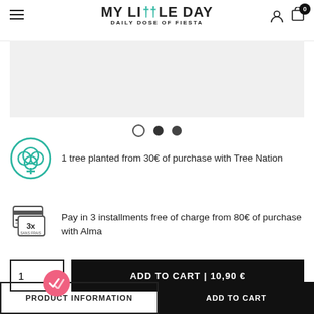MY LITTLE DAY — DAILY DOSE OF FIESTA
[Figure (photo): Product image placeholder (light grey rectangle)]
1 tree planted from 30€ of purchase with Tree Nation
Pay in 3 installments free of charge from 80€ of purchase with Alma
ADD TO CART | 10,90 €
PRODUCT INFORMATION
ADD TO CART